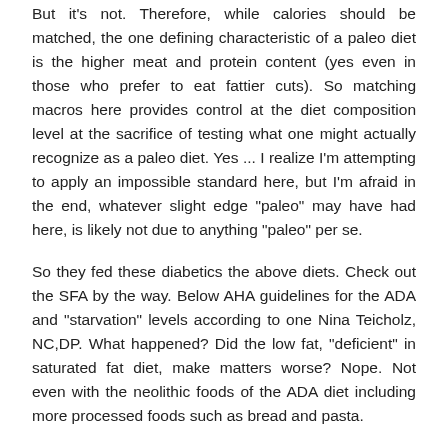But it's not. Therefore, while calories should be matched, the one defining characteristic of a paleo diet is the higher meat and protein content (yes even in those who prefer to eat fattier cuts). So matching macros here provides control at the diet composition level at the sacrifice of testing what one might actually recognize as a paleo diet. Yes ... I realize I'm attempting to apply an impossible standard here, but I'm afraid in the end, whatever slight edge "paleo" may have had here, is likely not due to anything "paleo" per se.
So they fed these diabetics the above diets. Check out the SFA by the way. Below AHA guidelines for the ADA and "starvation" levels according to one Nina Teicholz, NC,DP. What happened? Did the low fat, "deficient" in saturated fat diet, make matters worse? Nope. Not even with the neolithic foods of the ADA diet including more processed foods such as bread and pasta.
This was a semi-metabolic ward study, by which I mean that